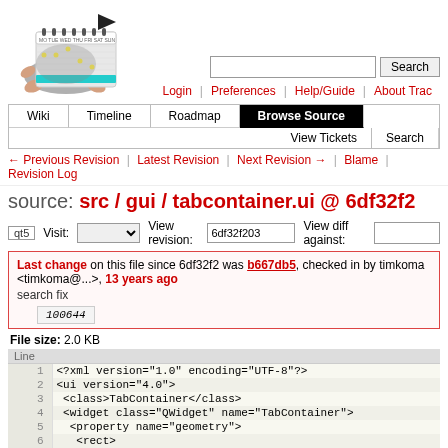[Figure (logo): Trac calendar/turtle logo]
Login | Preferences | Help/Guide | About Trac
Wiki | Timeline | Roadmap | Browse Source | View Tickets | Search
← Previous Revision | Latest Revision | Next Revision → | Blame | Revision Log
source: src / gui / tabcontainer.ui @ 6df32f2
qt5   Visit: [dropdown]   View revision: 6df32f203   View diff against: [input]
Last change on this file since 6df32f2 was b667db5, checked in by timkoma <timkoma@...>, 13 years ago
search fix
Property mode set to 100644
File size: 2.0 KB
| Line |  |
| --- | --- |
| 1 | <?xml version="1.0" encoding="UTF-8"?> |
| 2 | <ui version="4.0"> |
| 3 |  <class>TabContainer</class> |
| 4 |  <widget class="QWidget" name="TabContainer"> |
| 5 |   <property name="geometry"> |
| 6 |    <rect> |
| 7 |    <x>0</x> |